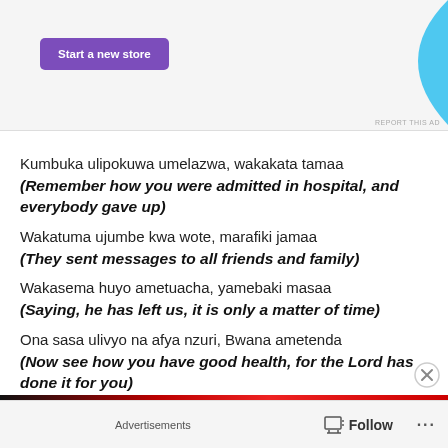[Figure (other): Advertisement banner with purple 'Start a new store' button and cyan/blue decorative shape on right side. 'REPORT THIS AD' text bottom-right.]
Kumbuka ulipokuwa umelazwa, wakakata tamaa
(Remember how you were admitted in hospital, and everybody gave up)
Wakatuma ujumbe kwa wote, marafiki jamaa
(They sent messages to all friends and family)
Wakasema huyo ametuacha, yamebaki masaa
(Saying, he has left us, it is only a matter of time)
Ona sasa ulivyo na afya nzuri, Bwana ametenda
(Now see how you have good health, for the Lord has done it for you)
Advertisements  Follow ...